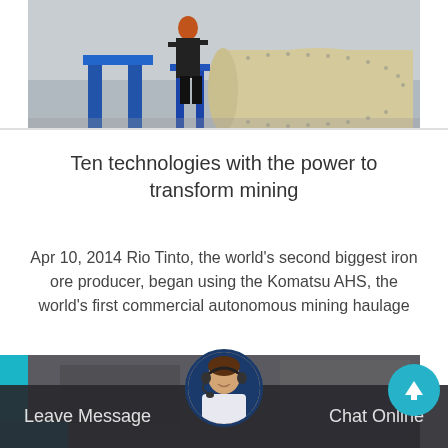[Figure (photo): Industrial setting showing a worker in hard hat and dark clothing standing next to large cylindrical mining/industrial equipment (ball mill or similar), with blue metal support structures visible in background.]
Ten technologies with the power to transform mining
Apr 10, 2014 Rio Tinto, the world's second biggest iron ore producer, began using the Komatsu AHS, the world's first commercial autonomous mining haulage
[Figure (photo): Partial view of second article card with teal/blue decorative block, dark industrial background photo overlay.]
[Figure (photo): Chat support agent: woman with headset smiling, shown in circular avatar at bottom center.]